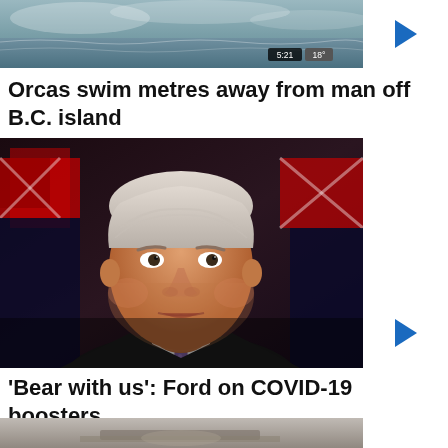[Figure (screenshot): Video thumbnail showing ocean/water scene with time badge 5:21 and temperature badge 18°]
Orcas swim metres away from man off B.C. island
[Figure (photo): Photo of Doug Ford speaking at a press conference with Ontario flags in the background, wearing a dark suit and purple tie]
'Bear with us': Ford on COVID-19 boosters
[Figure (screenshot): Partial video thumbnail at bottom of page showing a blurred scene]